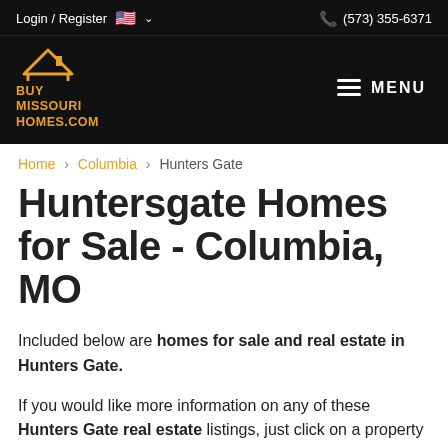Login / Register   (573) 355-6371
[Figure (logo): BuyMissouriHomes.com logo with house icon in gold/orange on black background, MENU hamburger icon on right]
Home > Columbia > Hunters Gate
Huntersgate Homes for Sale - Columbia, MO
Included below are homes for sale and real estate in Hunters Gate.
If you would like more information on any of these Hunters Gate real estate listings, just click on a property to access the full details. From there, you can